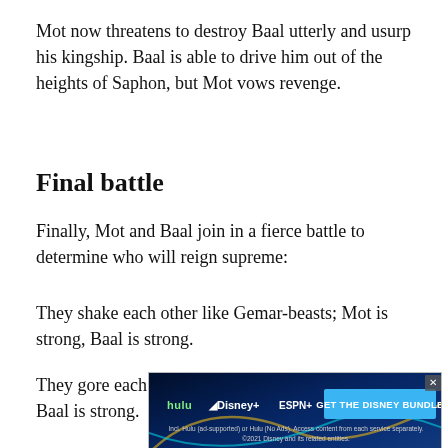Mot now threatens to destroy Baal utterly and usurp his kingship. Baal is able to drive him out of the heights of Saphon, but Mot vows revenge.
Final battle
Finally, Mot and Baal join in a fierce battle to determine who will reign supreme:
They shake each other like Gemar-beasts; Mot is strong, Baal is strong.
They gore each other like buffaloes; Mot is strong, Baal is strong.
They bite like serpents; Mot is strong, Baal is strong.
They kick like racing beasts; Mot is down, Baal is down.
Shapal... [ad overlay obscures text] ...battle, for Baal now enjoys the support of El, the father of the gods. [text continues below]
[Figure (screenshot): Disney Bundle advertisement banner showing Hulu, Disney+, and ESPN+ logos with 'GET THE DISNEY BUNDLE' call to action button, on dark blue background. Fine print: Incl. Hulu (ad-supported) or Hulu (No Ads). Access content from each service separately. ©2021 Disney and its related entities.]